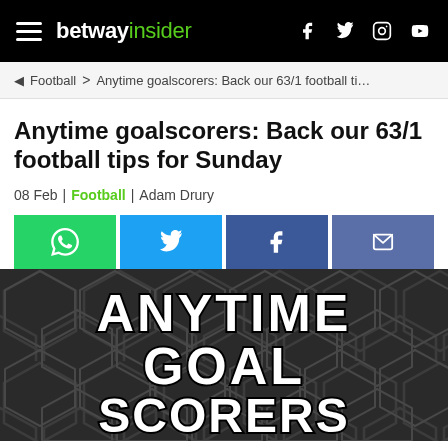betway insider
Football > Anytime goalscorers: Back our 63/1 football ti…
Anytime goalscorers: Back our 63/1 football tips for Sunday
08 Feb | Football | Adam Drury
[Figure (other): Social share buttons: WhatsApp (green), Twitter (blue), Facebook (dark blue), Email (blue-grey)]
[Figure (illustration): Dark hexagonal pattern background with bold white text reading ANYTIME GOAL SCORERS in large styled letters with black outline]